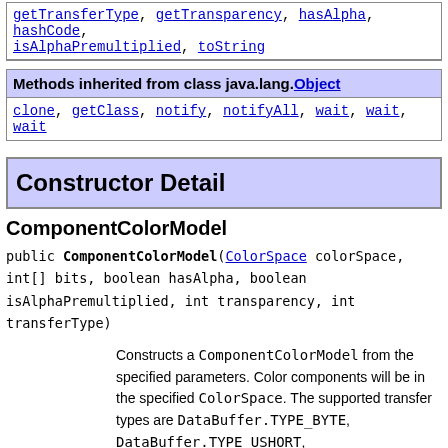| Methods inherited from class java.awt.image.ColorModel |
| --- |
| getTransferType, getTransparency, hasAlpha, hashCode, isAlphaPremultiplied, toString |
| Methods inherited from class java.lang.Object |
| --- |
| clone, getClass, notify, notifyAll, wait, wait, wait |
Constructor Detail
ComponentColorModel
public ComponentColorModel(ColorSpace colorSpace,
                          int[] bits,
                          boolean hasAlpha,
                          boolean isAlphaPremultiplied,
                          int transparency,
                          int transferType)
Constructs a ComponentColorModel from the specified parameters. Color components will be in the specified ColorSpace. The supported transfer types are DataBuffer.TYPE_BYTE, DataBuffer.TYPE_USHORT, DataBuffer.TYPE_INT, DataBuffer.TYPE_SHORT, DataBuffer.TYPE_FLOAT, and DataBuffer.TYPE_DOUBLE. If